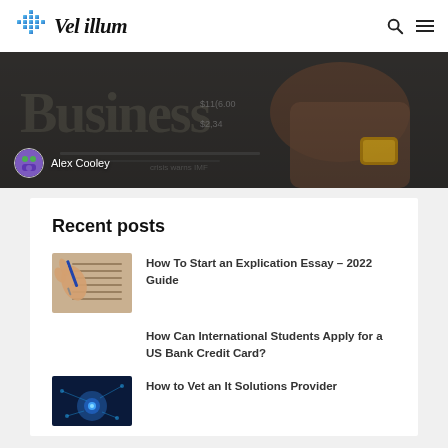Vel illum
[Figure (photo): Hero banner image showing a business newspaper with a hand wearing a watch, and an author avatar for Alex Cooley]
Alex Cooley
Recent posts
[Figure (photo): Thumbnail showing hands writing on a notepad with a pen]
How To Start an Explication Essay – 2022 Guide
How Can International Students Apply for a US Bank Credit Card?
[Figure (photo): Thumbnail showing a blue tech/digital background with glowing elements]
How to Vet an It Solutions Provider